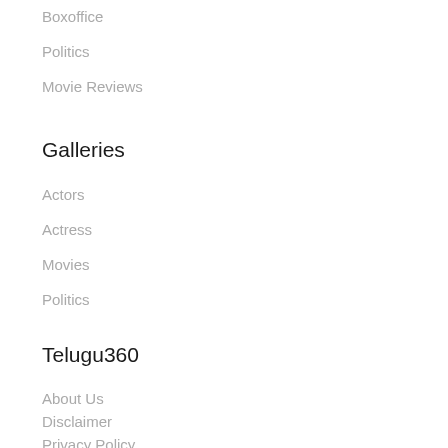Boxoffice
Politics
Movie Reviews
Galleries
Actors
Actress
Movies
Politics
Telugu360
About Us
Disclaimer
Privacy Policy
Terms of Use